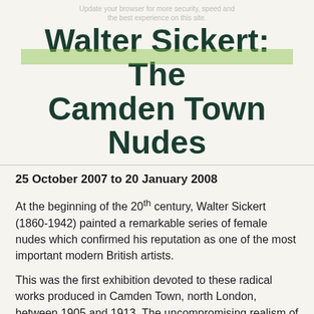Update your browser for more security, speed and the best experience on this site.
Walter Sickert: The Camden Town Nudes
25 October 2007 to 20 January 2008
At the beginning of the 20th century, Walter Sickert (1860-1942) painted a remarkable series of female nudes which confirmed his reputation as one of the most important modern British artists.
This was the first exhibition devoted to these radical works produced in Camden Town, north London, between 1905 and 1913. The uncompromising realism of Sickert's nudes, set on